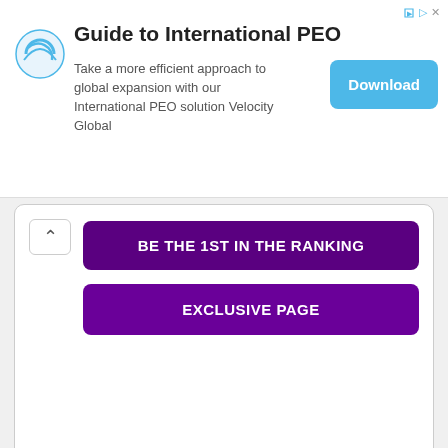[Figure (infographic): Advertisement banner for Guide to International PEO by Velocity Global with Download button]
BE THE 1ST IN THE RANKING
EXCLUSIVE PAGE
7. Tokyo City University Setagaya Campus
4.3 rating, 148 reviews
Location
⭐⭐⭐⭐☆ 4
Price
⭐⭐⭐⭐⭐ 4.8